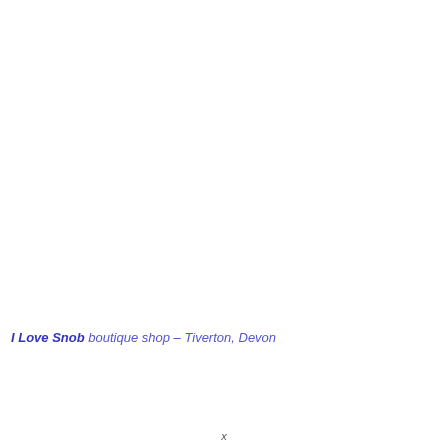I Love Snob boutique shop – Tiverton, Devon
x